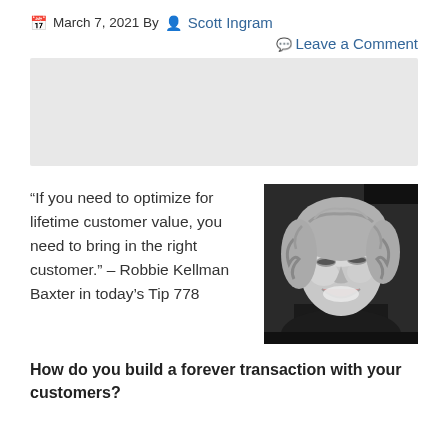March 7, 2021 By Scott Ingram
Leave a Comment
[Figure (other): Gray placeholder advertisement block]
“If you need to optimize for lifetime customer value, you need to bring in the right customer.” – Robbie Kellman Baxter in today’s Tip 778
[Figure (photo): Black and white headshot photo of a smiling woman with curly shoulder-length hair]
How do you build a forever transaction with your customers?